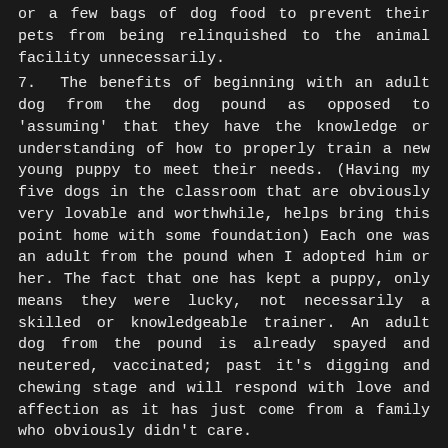or a few bags of dog food to prevent their pets from being relinquished to the animal facility unnecessarily.
7. The benefits of beginning with an adult dog from the dog pound as opposed to 'assuming' that they have the knowledge or understanding of how to properly train a new young puppy to meet their needs. (Having my five dogs in the classroom that are obviously very lovable and worthwhile, helps bring this point home with some foundation) Each one was an adult from the pound when I adopted him or her. The fact that one has kept a puppy, only means they were lucky, not necessarily a skilled or knowledgeable trainer. An adult dog from the pound is already spayed and neutered, vaccinated; past it's digging and chewing stage and will respond with love and affection as it has just come from a family who obviously didn't care.
8. The proven benefits for humans as well as their pets of providing 'indoor' sleeping arrangements for their pets. Reduced allergies for children, improved allergenic reactions for adults who already have them, as well as a longer and healthier life for the pets as well. After all, if a dog is to protect its most important family members, it can't do so from the back yard if it has no access to the inside areas. (Reference: Associated Press article by Justin Pritchard in San Francisco)
9. A 'guard dog' is one who has been properly trained for the job and